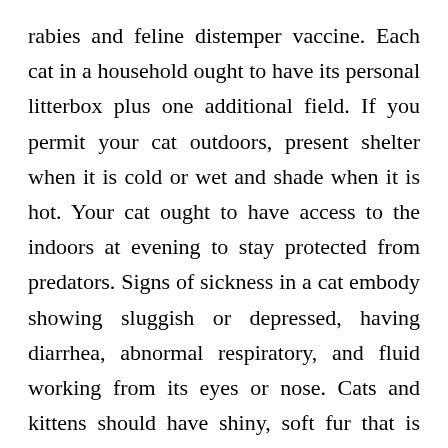rabies and feline distemper vaccine. Each cat in a household ought to have its personal litterbox plus one additional field. If you permit your cat outdoors, present shelter when it is cold or wet and shade when it is hot. Your cat ought to have access to the indoors at evening to stay protected from predators. Signs of sickness in a cat embody showing sluggish or depressed, having diarrhea, abnormal respiratory, and fluid working from its eyes or nose. Cats and kittens should have shiny, soft fur that is freed from poop and debris.
Are there caps on payouts per incident, per yr, or over the pet's lifetime? The Healthy Paws plan has no caps on payouts – no per incident caps, no annual caps and no lifetime caps. The Healthy Pet Club for me is solely